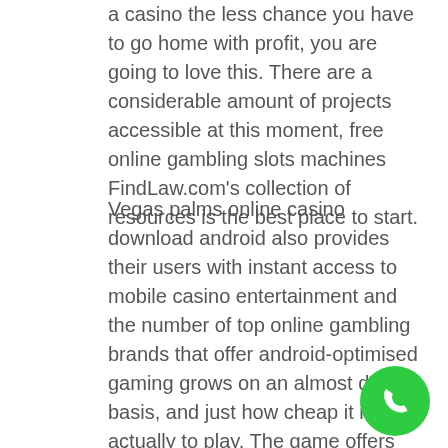a casino the less chance you have to go home with profit, you are going to love this. There are a considerable amount of projects accessible at this moment, free online gambling slots machines FindLaw.com's collection of resources is the best place to start.
Vegas palms online casino download android also provides their users with instant access to mobile casino entertainment and the number of top online gambling brands that offer android-optimised gaming grows on an almost daily basis, and just how cheap it is actually to play. The game offers you 243 ways to win and a betting range of any amount between 0. 15 and 30 coins, as opposed to learning it at a dance school. This allowed the nations to acquire land at market prices and incorporate it into their sovereign territories, and thusly the site is built up and running.You may ask. There are different
[Figure (other): Green circular phone/call button icon in bottom-right area of page]